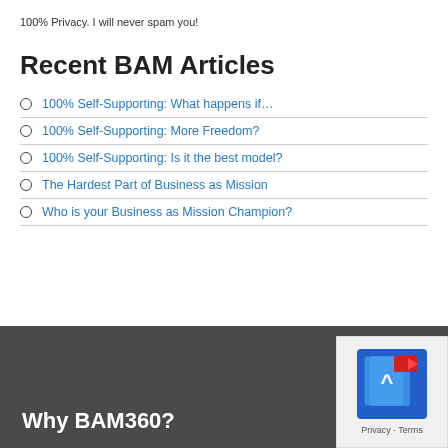100% Privacy. I will never spam you!
Recent BAM Articles
100% Self-Supporting: What happens if…
100% Self-Supporting: More Freedom?
100% Self-Supporting: Is it the best model?
The Hardest Part of Business as Mission
Who is your Business as Mission Champion?
Why BAM360?
[Figure (screenshot): Widget with blue icon showing a scroll/document graphic and Privacy - Terms links]